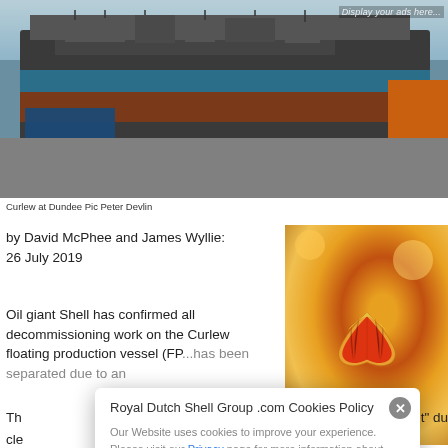[Figure (photo): Photo of the Curlew floating production vessel at Dundee port, showing a large industrial vessel with blue stripe and rust coloring, orange structure on right, blue crates on dock, advertisement overlay text visible top right.]
Curlew at Dundee Pic Peter Devlin
by David McPhee and James Wyllie: 26 July 2019
[Figure (photo): Bokeh photo of Shell logo/globe ornament with blurred golden lights in background.]
Oil giant Shell has confirmed all decommissioning work on the Curlew floating production vessel (FP... has been separated due to an...
Th... ...ent" du cle...
Royal Dutch Shell Group .com Cookies Policy
Our Website uses cookies to improve your experience. Please visit our Privacy page for more information about cookies and how we use them.